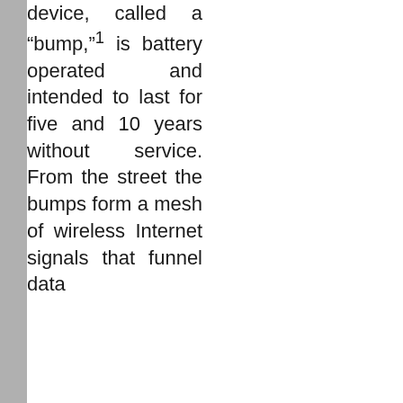device, called a "bump,"¹ is battery operated and intended to last for five and 10 years without service. From the street the bumps form a mesh of wireless Internet signals that funnel data